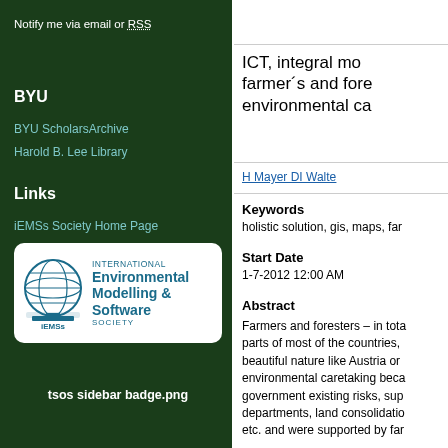Notify me via email or RSS
BYU
BYU ScholarsArchive
Harold B. Lee Library
Links
iEMSs Society Home Page
[Figure (logo): International Environmental Modelling & Software Society (iEMSs) logo with globe icon]
tsos sidebar badge.png
ICT, integral mo... farmer´s and fore... environmental ca...
H Mayer DI Walte
Keywords
holistic solution, gis, maps, far...
Start Date
1-7-2012 12:00 AM
Abstract
Farmers and foresters – in tota... parts of most of the countries,... beautiful nature like Austria or... environmental caretaking beca... government existing risks, sup... departments, land consolidatio... etc. and were supported by far...